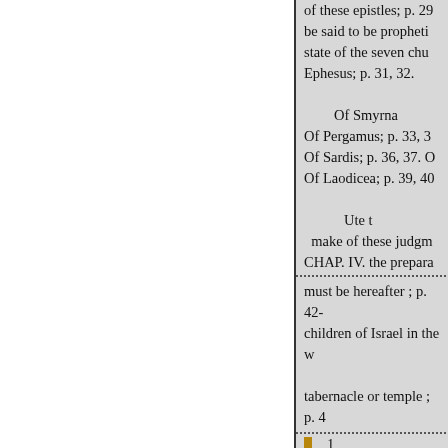of these epistles; p. 29 be said to be propheti state of the seven chu Ephesus; p. 31, 32.
Of Smyrna Of Pergamus; p. 33, 3 Of Sardis; p. 36, 37. O Of Laodicea; p. 39, 40
Ute th make of these judgm CHAP. IV. the prepara
must be hereafter ; p. 42-- children of Israel in the w tabernacle or temple ; p. 4
1
in order to how the great i prophecies here delivered; p. 48. This book sealed wi